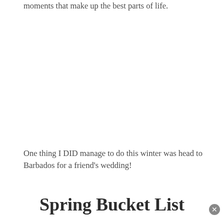moments that make up the best parts of life.
One thing I DID manage to do this winter was head to Barbados for a friend's wedding!
Spring Bucket List